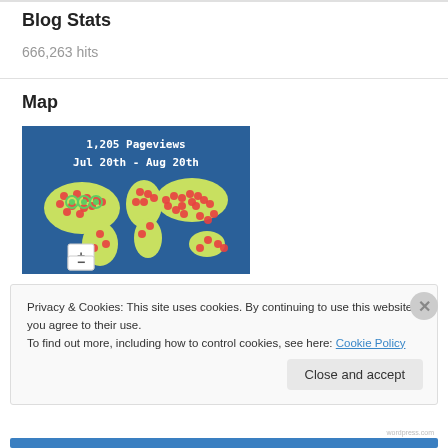Blog Stats
666,263 hits
Map
[Figure (map): World map showing 1,205 Pageviews from Jul 20th - Aug 20th with red and green dots marking visitor locations across the globe. Includes zoom +/- controls in bottom left.]
Privacy & Cookies: This site uses cookies. By continuing to use this website, you agree to their use.
To find out more, including how to control cookies, see here: Cookie Policy
Close and accept